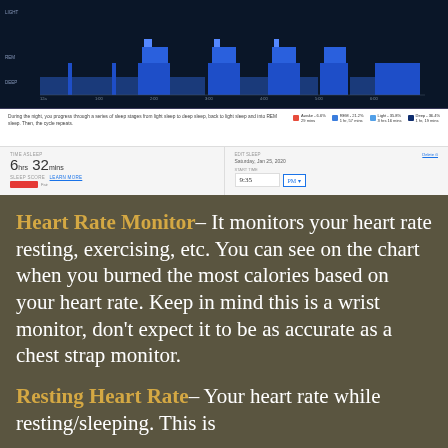[Figure (screenshot): Screenshot of a sleep tracking app showing sleep stage chart with deep, REM, light, and awake stages over the night, along with sleep summary showing 6hr 32min time asleep, sleep score, and sleep schedule settings. Right panel shows edit sleep options with date Saturday Jan 25, 2020 and time 9:35 PM.]
Heart Rate Monitor– It monitors your heart rate resting, exercising, etc. You can see on the chart when you burned the most calories based on your heart rate. Keep in mind this is a wrist monitor, don't expect it to be as accurate as a chest strap monitor.
Resting Heart Rate– Your heart rate while resting/sleeping. This is